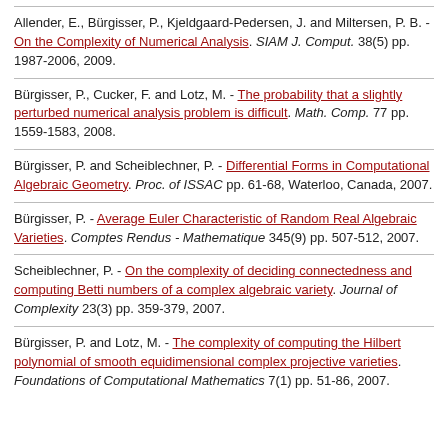Allender, E., Bürgisser, P., Kjeldgaard-Pedersen, J. and Miltersen, P. B. - On the Complexity of Numerical Analysis. SIAM J. Comput. 38(5) pp. 1987-2006, 2009.
Bürgisser, P., Cucker, F. and Lotz, M. - The probability that a slightly perturbed numerical analysis problem is difficult. Math. Comp. 77 pp. 1559-1583, 2008.
Bürgisser, P. and Scheiblechner, P. - Differential Forms in Computational Algebraic Geometry. Proc. of ISSAC pp. 61-68, Waterloo, Canada, 2007.
Bürgisser, P. - Average Euler Characteristic of Random Real Algebraic Varieties. Comptes Rendus - Mathematique 345(9) pp. 507-512, 2007.
Scheiblechner, P. - On the complexity of deciding connectedness and computing Betti numbers of a complex algebraic variety. Journal of Complexity 23(3) pp. 359-379, 2007.
Bürgisser, P. and Lotz, M. - The complexity of computing the Hilbert polynomial of smooth equidimensional complex projective varieties. Foundations of Computational Mathematics 7(1) pp. 51-86, 2007.